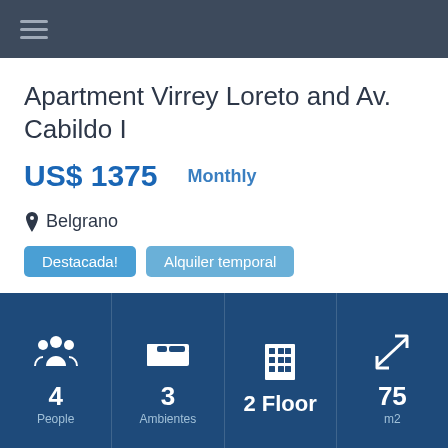Apartment Virrey Loreto and Av. Cabildo I
US$ 1375  Monthly
Belgrano
Destacada!
Alquiler temporal
4 People
3 Ambientes
2 Floor
75 m2